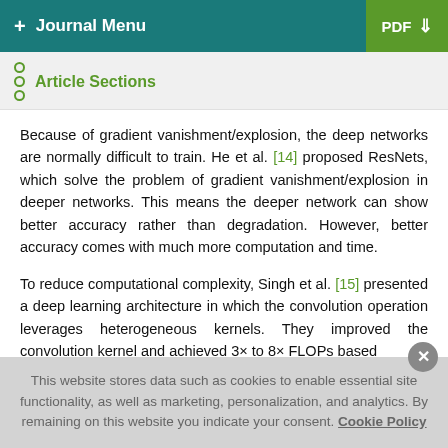+ Journal Menu  PDF ↓
Article Sections
Because of gradient vanishment/explosion, the deep networks are normally difficult to train. He et al. [14] proposed ResNets, which solve the problem of gradient vanishment/explosion in deeper networks. This means the deeper network can show better accuracy rather than degradation. However, better accuracy comes with much more computation and time.
To reduce computational complexity, Singh et al. [15] presented a deep learning architecture in which the convolution operation leverages heterogeneous kernels. They improved the convolution kernel and achieved 3× to 8× FLOPs based
This website stores data such as cookies to enable essential site functionality, as well as marketing, personalization, and analytics. By remaining on this website you indicate your consent. Cookie Policy